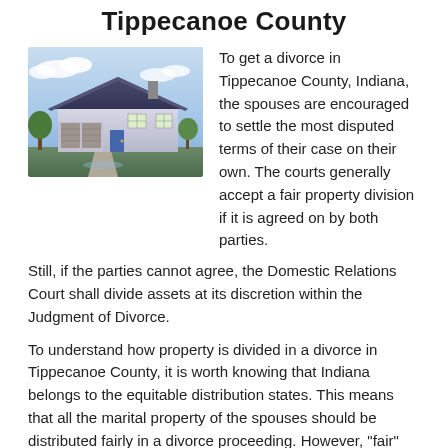Tippecanoe County
[Figure (photo): Photo of a house with blue sky background, two-car garage, suburban home exterior]
To get a divorce in Tippecanoe County, Indiana, the spouses are encouraged to settle the most disputed terms of their case on their own. The courts generally accept a fair property division if it is agreed on by both parties.
Still, if the parties cannot agree, the Domestic Relations Court shall divide assets at its discretion within the Judgment of Divorce.
To understand how property is divided in a divorce in Tippecanoe County, it is worth knowing that Indiana belongs to the equitable distribution states. This means that all the marital property of the spouses should be distributed fairly in a divorce proceeding. However, "fair" does not always mean "equal."
According to Indiana Code, Sec. 31.15.7.5, when deciding the